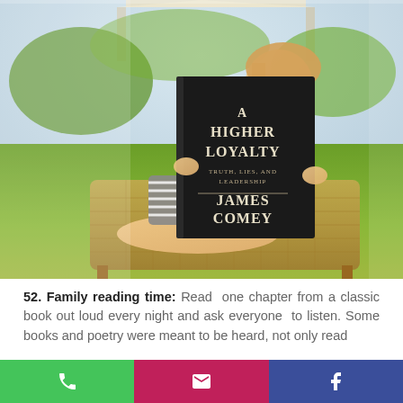[Figure (photo): A young girl with blonde hair sitting on a lounge chair outdoors, holding up and reading the book 'A Higher Loyalty: Truth, Lies, and Leadership' by James Comey. Green grass and a patio canopy visible in the background.]
52. Family reading time: Read one chapter from a classic book out loud every night and ask everyone to listen. Some books and poetry were meant to be heard, not only read to yourself. Think Shakespeare, Homer, and...
[Figure (infographic): Three bottom navigation buttons: green phone icon, magenta/pink email icon, and dark blue Facebook icon.]